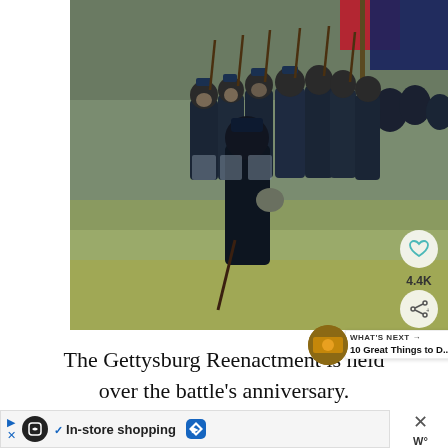[Figure (photo): Civil War reenactment photo showing men dressed in Union Army uniforms marching across a grassy field, carrying rifles and flags. One soldier stands in the foreground facing the group. A heart/like button and 4.4K count and share button are overlaid on the right side of the image.]
WHAT'S NEXT → 10 Great Things to D...
The Gettysburg Reenactment is held over the battle's anniversary.
In-store shopping